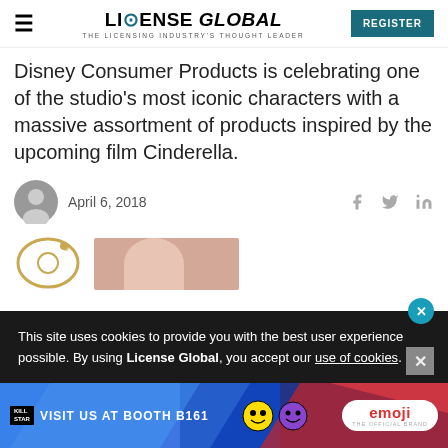LICENSE GLOBAL — THE LICENSING INDUSTRY'S THOUGHT LEADER | REGISTER
Disney Consumer Products is celebrating one of the studio&#39;s most iconic characters with a massive assortment of products inspired by the upcoming film Cinderella.
April 6, 2018
[Figure (screenshot): Cookie consent banner: 'This site uses cookies to provide you with the best user experience possible. By using License Global, you accept our use of cookies.' with close X button]
[Figure (photo): Partial view of article images showing a decorative logo element and a hand holding something, cropped at bottom]
[Figure (infographic): Advertisement banner: VISIT US AT BOOTH B161 with emoji branded smiley faces and emoji logo on colorful background]